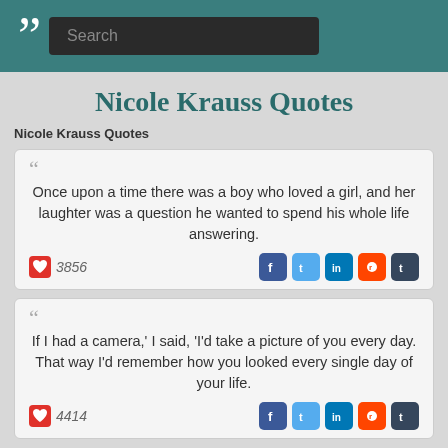Search
Nicole Krauss Quotes
Nicole Krauss Quotes
Once upon a time there was a boy who loved a girl, and her laughter was a question he wanted to spend his whole life answering.
3856
If I had a camera,' I said, 'I'd take a picture of you every day. That way I'd remember how you looked every single day of your life.
4414